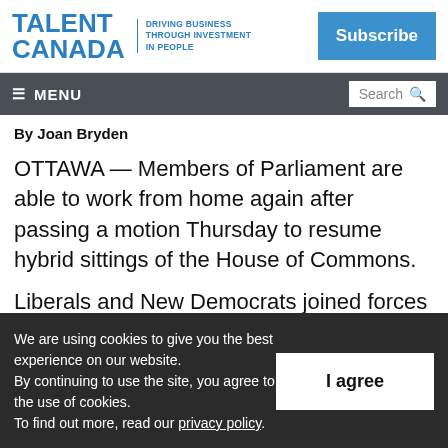TALENT CANADA — DRIVING BUSINESS THROUGH INVESTMENT IN PEOPLE | Subscribe
≡ MENU | Search
By Joan Bryden
OTTAWA — Members of Parliament are able to work from home again after passing a motion Thursday to resume hybrid sittings of the House of Commons.
Liberals and New Democrats joined forces to
We are using cookies to give you the best experience on our website. By continuing to use the site, you agree to the use of cookies. To find out more, read our privacy policy.
I agree